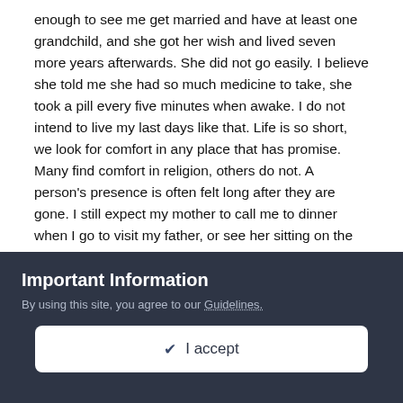enough to see me get married and have at least one grandchild, and she got her wish and lived seven more years afterwards. She did not go easily. I believe she told me she had so much medicine to take, she took a pill every five minutes when awake. I do not intend to live my last days like that. Life is so short, we look for comfort in any place that has promise. Many find comfort in religion, others do not. A person's presence is often felt long after they are gone. I still expect my mother to call me to dinner when I go to visit my father, or see her sitting on the front porch of their home when I arrive. I believe that feeling is the love and bond people share with each other. Some do not have that bond with their parents, spouses or children. It is special when we leave behind those who grieve and miss us because we are not forgotten. When we are gone, the love we share lives on, and it is something we should pass on to the next generation.
Important Information
By using this site, you agree to our Guidelines.
✔ I accept